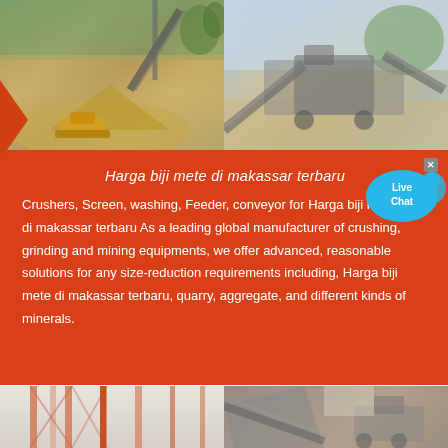[Figure (photo): Two mining/quarry site photos side by side showing stone crushing and processing equipment with conveyor belts, bulldozers, and gravel piles]
Harga biji mete di makassar terbaru
Crushers, Screen, washing, Feeder, conveyor for Harga biji mete di makassar terbaru As a leading global manufacturer of crushing, grinding and mining equipments, we offer advanced, reasonable solutions for any size-reduction requirements including, Harga biji mete di makassar terbaru, quarry, aggregate, and different kinds of minerals.
[Figure (photo): Two industrial mining/construction site photos at bottom showing structural steel frames and crushers/screening equipment]